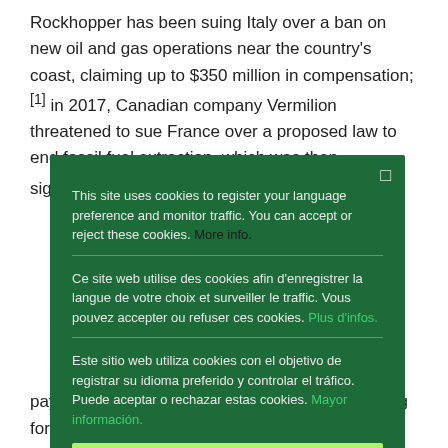Rockhopper has been suing Italy over a ban on new oil and gas operations near the country's coast, claiming up to $350 million in compensation;[1] in 2017, Canadian company Vermilion threatened to sue France over a proposed law to end fossil fuel extraction, which was then significantly weakened;[2] and in autumn
This site uses cookies to register your language preference and monitor traffic. You can accept or reject these cookies. More info.
Ce site web utilise des cookies afin d'enregistrer la langue de votre choix et surveiller le traffic. Vous pouvez accepter ou refuser ces cookies. Plus d'infos.
Este sitio web utiliza cookies con el objetivo de registrar su idioma preferido y controlar el tráfico. Puede aceptar o rechazar estas cookies. Mayor información.
Ok
pay out billions to compensate investors, including for